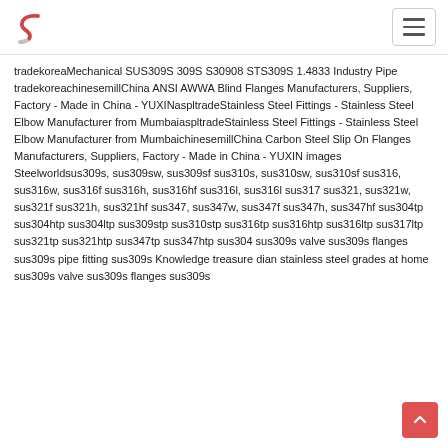[Figure (logo): Letter S logo in red and grey]
tradekoreaMechanical SUS309S 309S S30908 STS309S 1.4833 Industry Pipe tradekoreachinesemillChina ANSI AWWA Blind Flanges Manufacturers, Suppliers, Factory - Made in China - YUXINaspltradeStainless Steel Fittings - Stainless Steel Elbow Manufacturer from MumbaiaspltradeStainless Steel Fittings - Stainless Steel Elbow Manufacturer from MumbaichinesemillChina Carbon Steel Slip On Flanges Manufacturers, Suppliers, Factory - Made in China - YUXIN images Steelworldsus309s, sus309sw, sus309sf sus310s, sus310sw, sus310sf sus316, sus316w, sus316f sus316h, sus316hf sus316l, sus316l sus317 sus321, sus321w, sus321f sus321h, sus321hf sus347, sus347w, sus347f sus347h, sus347hf sus304tp sus304htp sus304ltp sus309stp sus310stp sus316tp sus316htp sus316ltp sus317ltp sus321tp sus321htp sus347tp sus347htp sus304 sus309s valve sus309s flanges sus309s pipe fitting sus309s Knowledge treasure dian stainless steel grades at home sus309s valve sus309s flanges sus309s